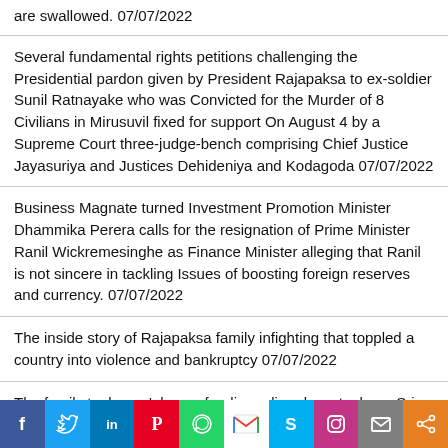are swallowed. 07/07/2022
Several fundamental rights petitions challenging the Presidential pardon given by President Rajapaksa to ex-soldier Sunil Ratnayake who was Convicted for the Murder of 8 Civilians in Mirusuvil fixed for support On August 4 by a Supreme Court three-judge-bench comprising Chief Justice Jayasuriya and Justices Dehideniya and Kodagoda 07/07/2022
Business Magnate turned Investment Promotion Minister Dhammika Perera calls for the resignation of Prime Minister Ranil Wickremesinghe as Finance Minister alleging that Ranil is not sincere in tackling Issues of boosting foreign reserves and currency. 07/07/2022
The inside story of Rajapaksa family infighting that toppled a country into violence and bankruptcy 07/07/2022
The family took over': how a feuding ruling dynasty drove Sri Lanka to ruin 07/07/2022
[Figure (other): Social media sharing bar with icons for Facebook, Twitter, LinkedIn, Pinterest, WhatsApp, Gmail, Skype, Instagram, Email, Share]